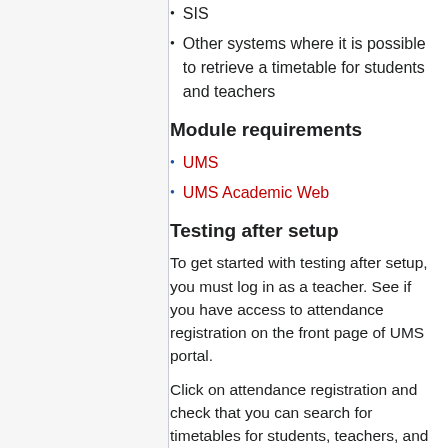SIS
Other systems where it is possible to retrieve a timetable for students and teachers
Module requirements
UMS
UMS Academic Web
Testing after setup
To get started with testing after setup, you must log in as a teacher. See if you have access to attendance registration on the front page of UMS portal.
Click on attendance registration and check that you can search for timetables for students, teachers, and classes.
Check that you can register individual students as absent.